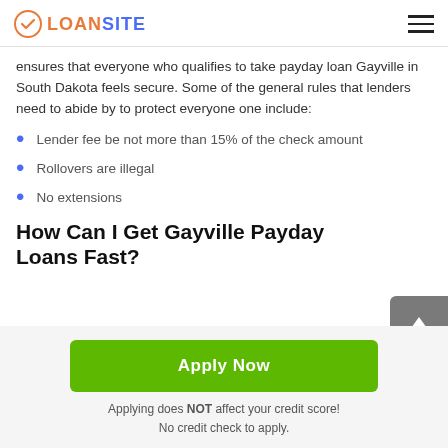LOANSITE
ensures that everyone who qualifies to take payday loan Gayville in South Dakota feels secure. Some of the general rules that lenders need to abide by to protect everyone one include:
Lender fee be not more than 15% of the check amount
Rollovers are illegal
No extensions
How Can I Get Gayville Payday Loans Fast?
Apply Now
Applying does NOT affect your credit score! No credit check to apply.